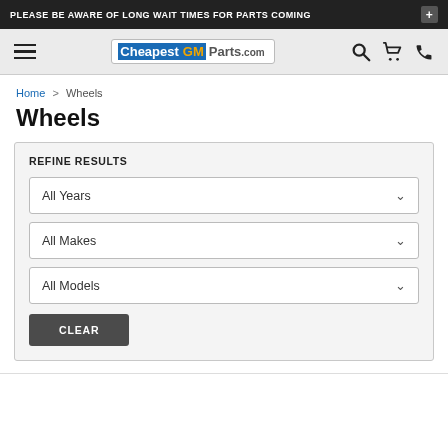PLEASE BE AWARE OF LONG WAIT TIMES FOR PARTS COMING +
[Figure (logo): CheapestGMParts.com logo with navigation icons (hamburger menu, search, cart, phone)]
Home > Wheels
Wheels
REFINE RESULTS
All Years
All Makes
All Models
CLEAR